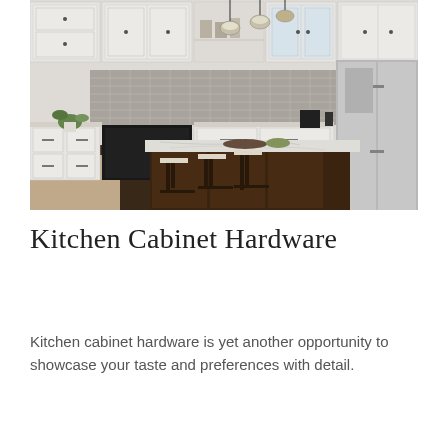[Figure (photo): Interior photo of a modern kitchen with white upper cabinets, a dark wood kitchen island with marble/quartz countertop, bar stools, pendant lighting, gray tile backsplash, and stainless steel refrigerator on the right.]
Kitchen Cabinet Hardware
Kitchen cabinet hardware is yet another opportunity to showcase your taste and preferences with detail.